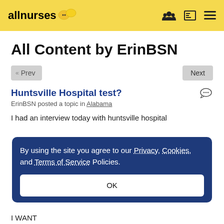allnurses
All Content by ErinBSN
« Prev   Next
Huntsville Hospital test?
ErinBSN posted a topic in Alabama
I had an interview today with huntsville hospital
By using the site you agree to our Privacy, Cookies, and Terms of Service Policies.
OK
I WANT